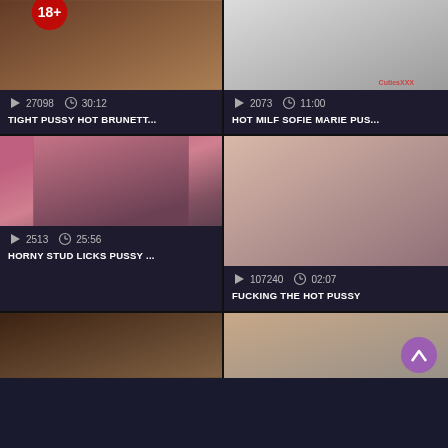[Figure (screenshot): Video thumbnail grid showing adult video listing page with 6 video cards arranged in 2 columns. Each card has a thumbnail image, play count, duration, and title.]
27098  30:12  TIGHT PUSSY HOT BRUNETT...
2073  11:00  HOT MILF SOFIE MARIE PUS...
2513  25:56  HORNY STUD LICKS PUSSY ...
107240  02:07  FUCKING THE HOT PUSSY